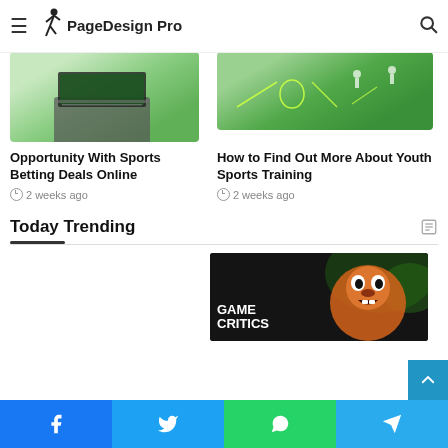PageDesign Pro
[Figure (screenshot): Laptop on green background - sports betting article image]
Opportunity With Sports Betting Deals Online
2 weeks ago
[Figure (screenshot): Sports field with youth training markings]
How to Find Out More About Youth Sports Training
2 weeks ago
Today Trending
[Figure (screenshot): Game Critics logo with Crash Bandicoot character on dark background]
Facebook | Twitter | WhatsApp | Telegram